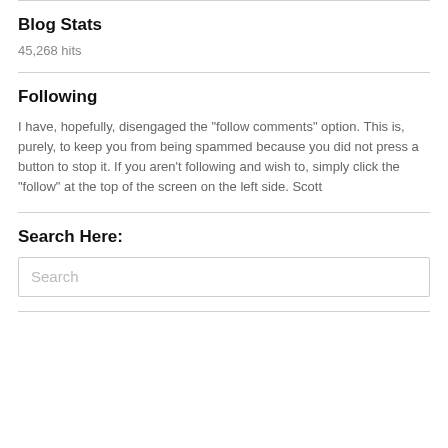Blog Stats
45,268 hits
Following
I have, hopefully, disengaged the "follow comments" option. This is, purely, to keep you from being spammed because you did not press a button to stop it. If you aren't following and wish to, simply click the "follow" at the top of the screen on the left side. Scott
Search Here:
Search